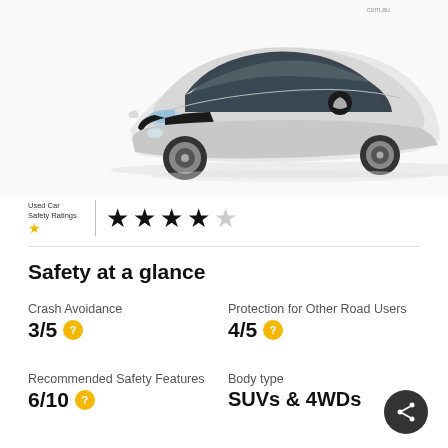[Figure (photo): White Mazda CX-7 SUV photographed from front-left angle on white background]
Used Car Safety Ratings ★★★★☆ (4 out of 5 stars)
Safety at a glance
Crash Avoidance
3/5 ?
Protection for Other Road Users
4/5 ?
Recommended Safety Features
6/10 ?
Body type
SUVs & 4WDs